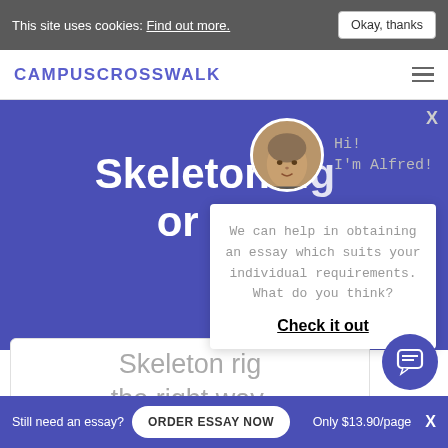This site uses cookies: Find out more. Okay, thanks
CAMPUSCROSSWALK
Skeleton rig or the
[Figure (photo): Circular avatar photo of a man (Alfred) with short hair, with text 'Hi! I'm Alfred!' beside it and an X close button]
We can help in obtaining an essay which suits your individual requirements. What do you think?
Check it out
Skeleton rig the right way,
Still need an essay? ORDER ESSAY NOW Only $13.90/page X